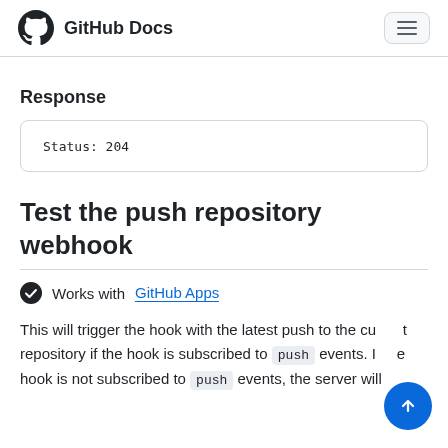GitHub Docs
Response
Status: 204
Test the push repository webhook
Works with GitHub Apps
This will trigger the hook with the latest push to the current repository if the hook is subscribed to push events. If the hook is not subscribed to push events, the server will